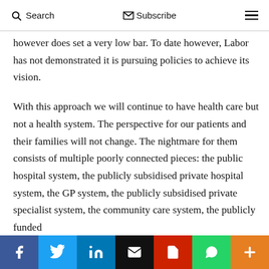Search  Subscribe  ☰
however does set a very low bar. To date however, Labor has not demonstrated it is pursuing policies to achieve its vision.

With this approach we will continue to have health care but not a health system. The perspective for our patients and their families will not change. The nightmare for them consists of multiple poorly connected pieces: the public hospital system, the publicly subsidised private hospital system, the GP system, the publicly subsidised private specialist system, the community care system, the publicly funded